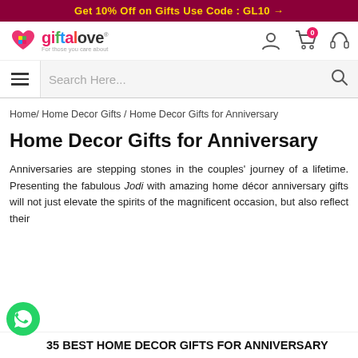Get 10% Off on Gifts Use Code : GL10 →
[Figure (logo): giftalove logo with heart icon and tagline 'For those you care about']
Search Here...
Home/ Home Decor Gifts / Home Decor Gifts for Anniversary
Home Decor Gifts for Anniversary
Anniversaries are stepping stones in the couples' journey of a lifetime. Presenting the fabulous Jodi with amazing home décor anniversary gifts will not just elevate the spirits of the magnificent occasion, but also reflect their
35 BEST HOME DECOR GIFTS FOR ANNIVERSARY